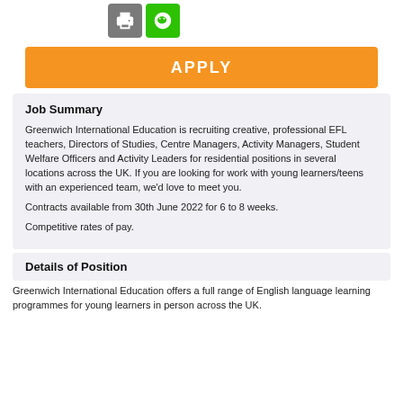[Figure (other): Row of two icon buttons: a gray print icon and a green WeChat/share icon]
APPLY
Job Summary
Greenwich International Education is recruiting creative, professional EFL teachers, Directors of Studies, Centre Managers, Activity Managers, Student Welfare Officers and Activity Leaders for residential positions in several locations across the UK. If you are looking for work with young learners/teens with an experienced team, we'd love to meet you.
Contracts available from 30th June 2022 for 6 to 8 weeks.
Competitive rates of pay.
Details of Position
Greenwich International Education offers a full range of English language learning programmes for young learners in person across the UK.